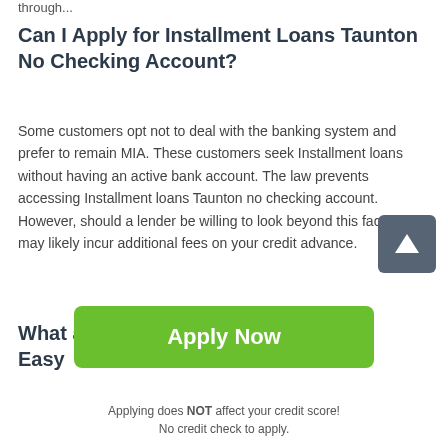through...
Can I Apply for Installment Loans Taunton No Checking Account?
Some customers opt not to deal with the banking system and prefer to remain MIA. These customers seek Installment loans without having an active bank account. The law prevents accessing Installment loans Taunton no checking account. However, should a lender be willing to look beyond this factor, you may likely incur additional fees on your credit advance.
What are Some Alternatives to Easy Installment Loans Taunton MA?
[Figure (other): Scroll-to-top button: dark grey square with white upward arrow]
Apply Now
Applying does NOT affect your credit score!
No credit check to apply.